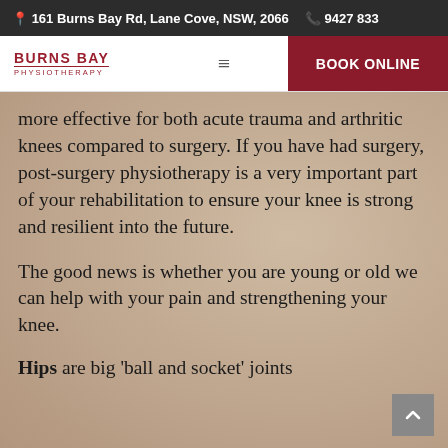161 Burns Bay Rd, Lane Cove, NSW, 2066  9427 833
[Figure (logo): Burns Bay Physiotherapy logo with red text and horizontal rule]
more effective for both acute trauma and arthritic knees compared to surgery. If you have had surgery, post-surgery physiotherapy is a very important part of your rehabilitation to ensure your knee is strong and resilient into the future.
The good news is whether you are young or old we can help with your pain and strengthening your knee.
Hips are big 'ball and socket' joints